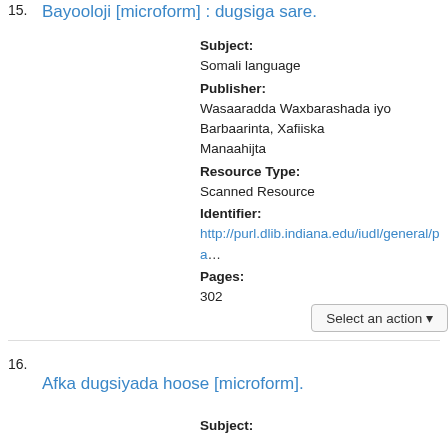15.
Bayooloji [microform] : dugsiga sare.
Subject:
Somali language
Publisher:
Wasaaradda Waxbarashada iyo Barbaarinta, Xafiiska Manaahijta
Resource Type:
Scanned Resource
Identifier:
http://purl.dlib.indiana.edu/iudl/general/pa
Pages:
302
16.
Afka dugsiyada hoose [microform].
Subject: